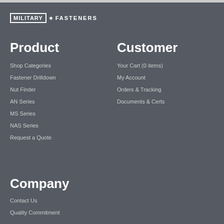[Figure (logo): Military Fasteners logo: box around 'MILITARY' text, star symbol, then 'FASTENERS' text]
Product
Customer
Shop Categories
Your Cart (0 items)
Fastener Drilldown
My Account
Nut Finder
Orders & Tracking
AN Series
Documents & Certs
MS Series
NAS Series
Request a Quote
Company
Contact Us
Quality Commitment